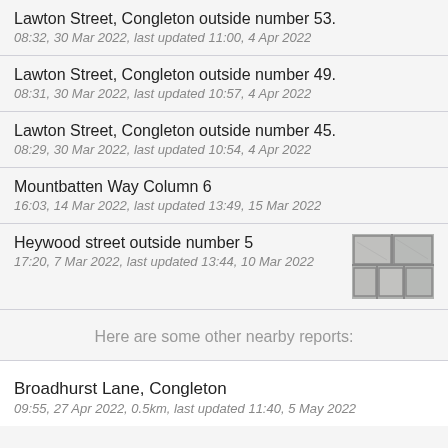Lawton Street, Congleton outside number 53.
08:32, 30 Mar 2022, last updated 11:00, 4 Apr 2022
Lawton Street, Congleton outside number 49.
08:31, 30 Mar 2022, last updated 10:57, 4 Apr 2022
Lawton Street, Congleton outside number 45.
08:29, 30 Mar 2022, last updated 10:54, 4 Apr 2022
Mountbatten Way Column 6
16:03, 14 Mar 2022, last updated 13:49, 15 Mar 2022
Heywood street outside number 5
17:20, 7 Mar 2022, last updated 13:44, 10 Mar 2022
Here are some other nearby reports:
Broadhurst Lane, Congleton
09:55, 27 Apr 2022, 0.5km, last updated 11:40, 5 May 2022